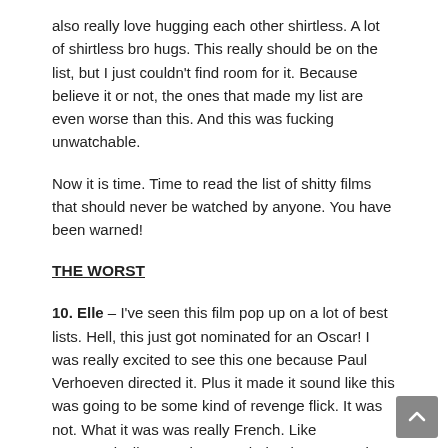also really love hugging each other shirtless. A lot of shirtless bro hugs. This really should be on the list, but I just couldn't find room for it. Because believe it or not, the ones that made my list are even worse than this. And this was fucking unwatchable.
Now it is time. Time to read the list of shitty films that should never be watched by anyone. You have been warned!
THE WORST
10. Elle – I've seen this film pop up on a lot of best lists. Hell, this just got nominated for an Oscar! I was really excited to see this one because Paul Verhoeven directed it. Plus it made it sound like this was going to be some kind of revenge flick. It was not. What it was was really French. Like stereotypically French. Even their take on rape is so French. Drink some wine, eat some stinky cheese, have a little rape, you Americans are such prudes. This film is so painfully awful. The main character is insanely unlikable. I know she's meant to be, but wow. Be careful w you write unlikable characters and keep in mind we need to actually